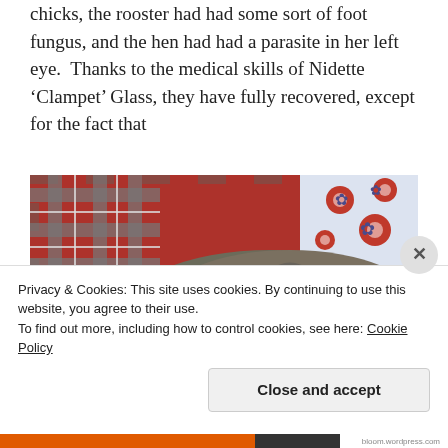chicks, the rooster had had some sort of foot fungus, and the hen had had a parasite in her left eye. Thanks to the medical skills of Nidette ‘Clampet’ Glass, they have fully recovered, except for the fact that
[Figure (photo): A close-up photo of a young chick with a swollen or injured left eye, resting on a red plaid fabric background with a floral pattern visible in the upper right corner.]
Privacy & Cookies: This site uses cookies. By continuing to use this website, you agree to their use.
To find out more, including how to control cookies, see here: Cookie Policy
Close and accept